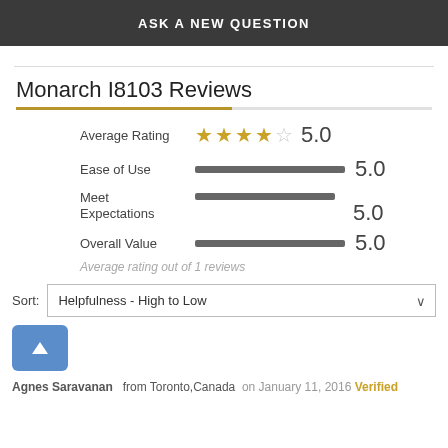ASK A NEW QUESTION
Monarch I8103 Reviews
Average Rating: 5.0
Ease of Use: 5.0
Meet Expectations: 5.0
Overall Value: 5.0
Average rating out of 1 reviews
Sort: Helpfulness - High to Low
Agnes Saravanan  from Toronto,Canada  on January 11, 2016  Verified